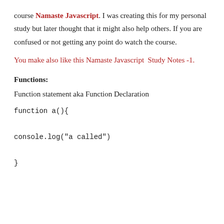course Namaste Javascript. I was creating this for my personal study but later thought that it might also help others. If you are confused or not getting any point do watch the course.
You make also like this Namaste Javascript  Study Notes -1.
Functions:
Function statement aka Function Declaration
function a(){

console.log("a called")

}